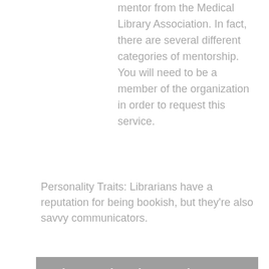mentor from the Medical Library Association. In fact, there are several different categories of mentorship. You will need to be a member of the organization in order to request this service.
Personality Traits: Librarians have a reputation for being bookish, but they're also savvy communicators.
Jobs By Education Level
Diplomas / Certificates
Associates
Bachelors